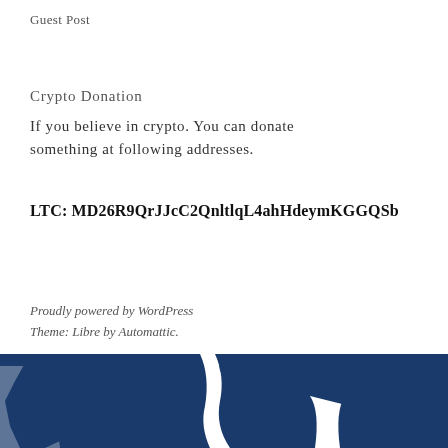Guest Post
Crypto Donation
If you believe in crypto. You can donate something at following addresses.
LTC: MD26R9QrJJcC2QnltlqL4ahHdeymKGGQSb
Proudly powered by WordPress
Theme: Libre by Automattic.
[Figure (illustration): Blue world map silhouette at bottom of page]